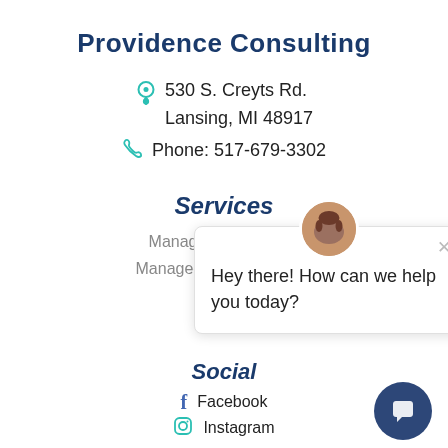Providence Consulting
530 S. Creyts Rd.
Lansing, MI 48917
Phone: 517-679-3302
Services
Managed IT Services
Managed Cybersecurity
Risk
IT
Social
Facebook
Instagram
[Figure (screenshot): Chat popup overlay with avatar photo of a woman and message 'Hey there! How can we help you today?' with close button, and a dark blue circular chat button in the bottom right corner.]